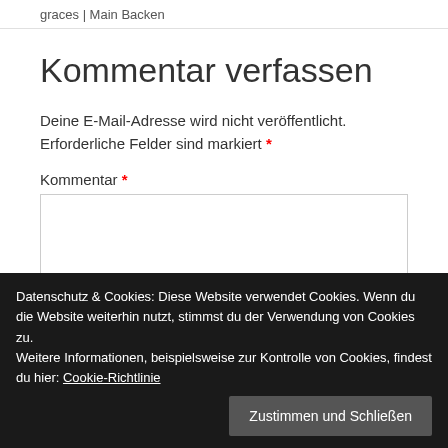graces | Main Backen
Kommentar verfassen
Deine E-Mail-Adresse wird nicht veröffentlicht. Erforderliche Felder sind markiert *
Kommentar *
Name *
Datenschutz & Cookies: Diese Website verwendet Cookies. Wenn du die Website weiterhin nutzt, stimmst du der Verwendung von Cookies zu.
Weitere Informationen, beispielsweise zur Kontrolle von Cookies, findest du hier: Cookie-Richtlinie